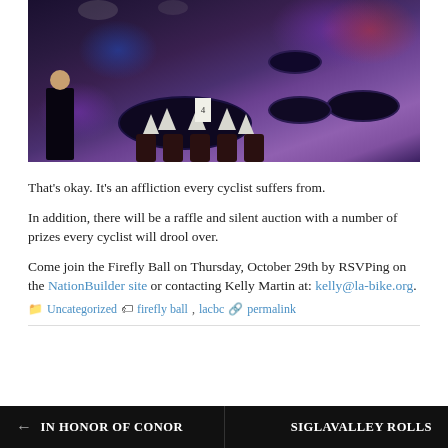[Figure (photo): Banquet hall set up with round tables covered in dark blue/navy tablecloths, white folded napkins, and dark wood chiavari chairs. Colorful ambient lighting in purple, blue, and red. A woman in a black dress walks in the foreground.]
That's okay. It's an affliction every cyclist suffers from.
In addition, there will be a raffle and silent auction with a number of prizes every cyclist will drool over.
Come join the Firefly Ball on Thursday, October 29th by RSVPing on the NationBuilder site or contacting Kelly Martin at: kelly@la-bike.org.
Uncategorized   firefly ball, lacbc   permalink
← IN HONOR OF CONOR
SIGLAVALLEY ROLLS